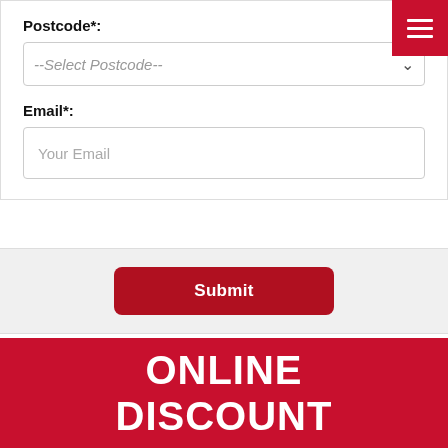Postcode*:
--Select Postcode--
Email*:
Your Email
Submit
ONLINE DISCOUNT